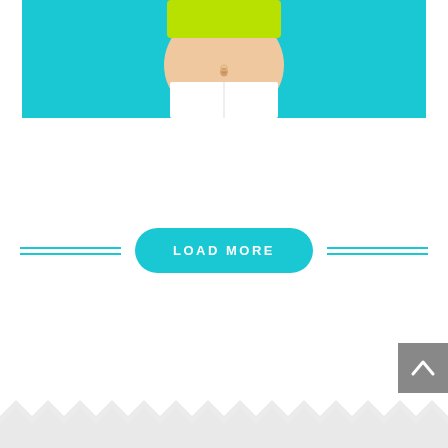[Figure (photo): Cropped photo of a person's midsection showing bare skin/belly with a belly button piercing, wearing a yellow-green knit crop top and white pants, against a teal/cyan background.]
LOAD MORE
[Figure (other): Gray back-to-top button in bottom-right corner with an upward arrow chevron icon.]
[Figure (other): White zigzag/scallop wave decorative footer border at the bottom of the page.]